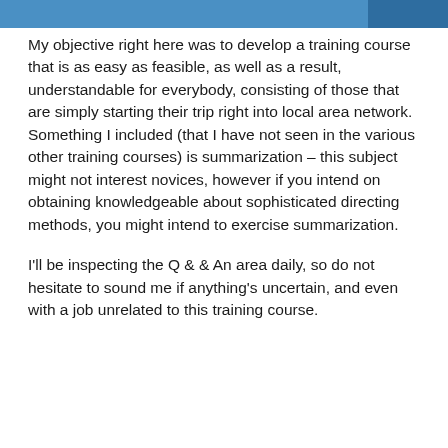My objective right here was to develop a training course that is as easy as feasible, as well as a result, understandable for everybody, consisting of those that are simply starting their trip right into local area network. Something I included (that I have not seen in the various other training courses) is summarization – this subject might not interest novices, however if you intend on obtaining knowledgeable about sophisticated directing methods, you might intend to exercise summarization.
I'll be inspecting the Q & & An area daily, so do not hesitate to sound me if anything's uncertain, and even with a job unrelated to this training course.